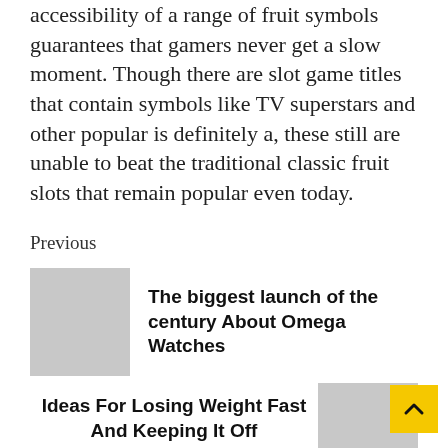accessibility of a range of fruit symbols guarantees that gamers never get a slow moment. Though there are slot game titles that contain symbols like TV superstars and other popular is definitely a, these still are unable to beat the traditional classic fruit slots that remain popular even today.
Previous
[Figure (photo): Gray placeholder image for previous article thumbnail]
The biggest launch of the century About Omega Watches
Next
Ideas For Losing Weight Fast And Keeping It Off
[Figure (photo): Gray placeholder image for next article thumbnail]